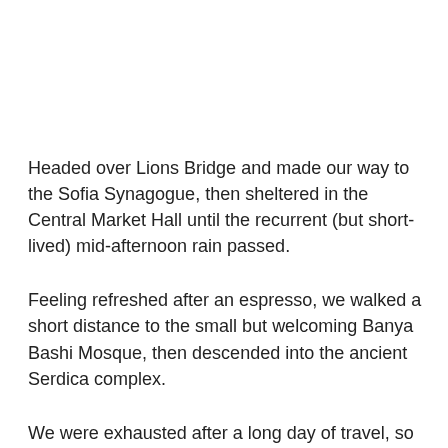Headed over Lions Bridge and made our way to the Sofia Synagogue, then sheltered in the Central Market Hall until the recurrent (but short-lived) mid-afternoon rain passed.
Feeling refreshed after an espresso, we walked a short distance to the small but welcoming Banya Bashi Mosque, then descended into the ancient Serdica complex.
We were exhausted after a long day of travel, so we headed back to the hotel and crashed. I had low expectations about Sofia as a city, but after the walking tour I absolutely loved the place. This was an easy city to navigate, and it was a